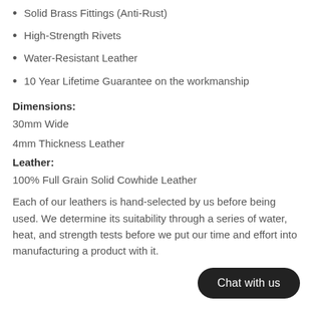Solid Brass Fittings (Anti-Rust)
High-Strength Rivets
Water-Resistant Leather
10 Year Lifetime Guarantee on the workmanship
Dimensions:
30mm Wide
4mm Thickness Leather
Leather:
100% Full Grain Solid Cowhide Leather
Each of our leathers is hand-selected by us before being used. We determine its suitability through a series of water, heat, and strength tests before we put our time and effort into manufacturing a product with it.